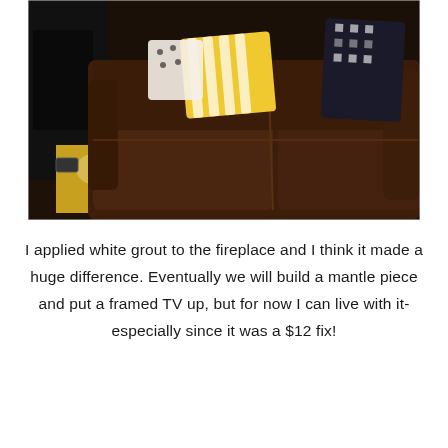[Figure (photo): Interior living room photo showing a dark brown leather sofa with yellow striped and black/white geometric throw pillows. A yellow and white damask patterned rug is visible on the dark wood floor to the left. A fireplace mantel area is partially visible in the background on the left side.]
I applied white grout to the fireplace and I think it made a huge difference. Eventually we will build a mantle piece and put a framed TV up, but for now I can live with it- especially since it was a $12 fix!